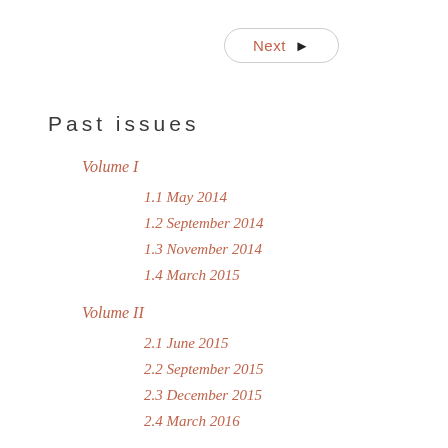[Figure (other): Next button with right arrow, rounded rectangle border]
Past issues
Volume I
1.1 May 2014
1.2 September 2014
1.3 November 2014
1.4 March 2015
Volume II
2.1 June 2015
2.2 September 2015
2.3 December 2015
2.4 March 2016